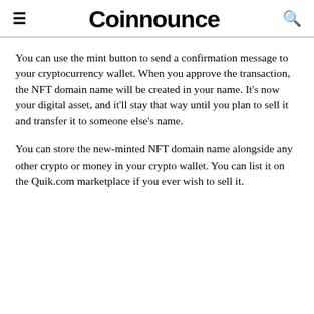Coinnounce
You can use the mint button to send a confirmation message to your cryptocurrency wallet. When you approve the transaction, the NFT domain name will be created in your name. It's now your digital asset, and it'll stay that way until you plan to sell it and transfer it to someone else's name.
You can store the new-minted NFT domain name alongside any other crypto or money in your crypto wallet. You can list it on the Quik.com marketplace if you ever wish to sell it.